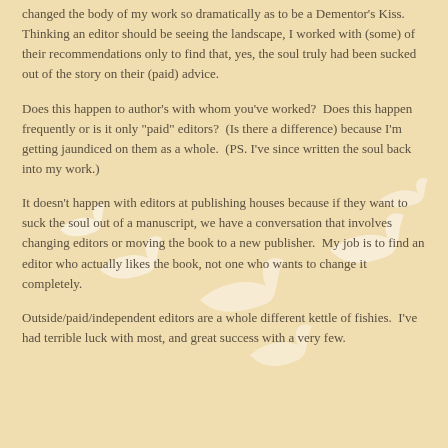changed the body of my work so dramatically as to be a Dementor's Kiss.  Thinking an editor should be seeing the landscape, I worked with (some) of their recommendations only to find that, yes, the soul truly had been sucked out of the story on their (paid) advice.
Does this happen to author's with whom you've worked?  Does this happen frequently or is it only "paid" editors?  (Is there a difference) because I'm getting jaundiced on them as a whole.  (PS. I've since written the soul back into my work.)
It doesn't happen with editors at publishing houses because if they want to suck the soul out of a manuscript, we have a conversation that involves changing editors or moving the book to a new publisher.  My job is to find an editor who actually likes the book, not one who wants to change it completely.
Outside/paid/independent editors are a whole different kettle of fishies.  I've had terrible luck with most, and great success with a very few.